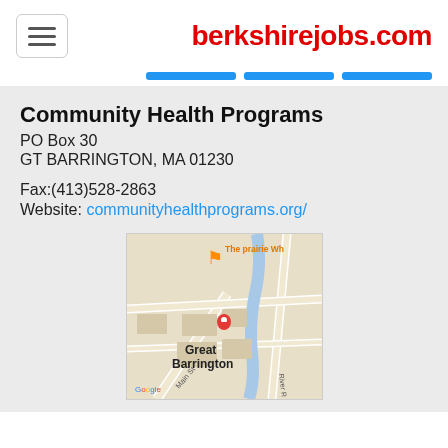berkshirejobs.com
Community Health Programs
PO Box 30
GT BARRINGTON, MA 01230
Fax:(413)528-2863
Website: communityhealthprograms.org/
[Figure (map): Google Maps screenshot showing Great Barrington, MA area with a red location pin near The Prairie Wh(eel), showing Main St and River Rd intersections.]